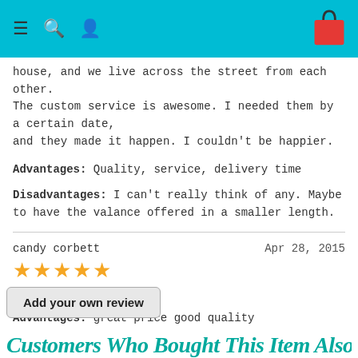[Figure (screenshot): Top navigation bar with teal/cyan background, hamburger menu icon, search icon, user icon on left side, and red shopping bag icon on right side]
house, and we live across the street from each other. The custom service is awesome. I needed them by a certain date, and they made it happen. I couldn't be happier.
Advantages: Quality, service, delivery time
Disadvantages: I can't really think of any. Maybe to have the valance offered in a smaller length.
candy corbett
Apr 28, 2015
[Figure (other): Five gold/orange star rating icons]
Love Love Love them!!
Advantages: great price good quality
« Show Pagination options...
Add your own review
Customers Who Bought This Item Also B